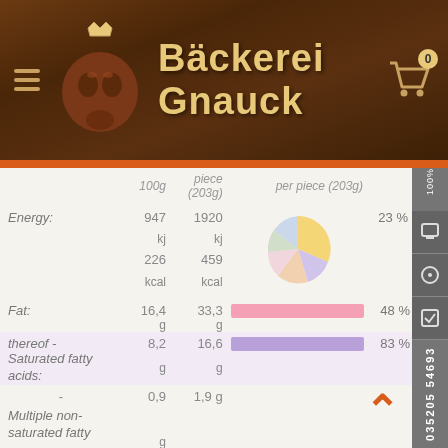Bäckerei Gnauck
|  | 100g | piece (203g) | per piece (203g) | 100% |
| --- | --- | --- | --- | --- |
| Energy: | 947 kj 226 kcal | 1920 kj 459 kcal | [pie chart] | 23 % |
| Fat: | 16,4 g | 33,3 g | [bar 48%] | 48 % |
| thereof - Saturated fatty acids: | 8,2 g | 16,6 g | [bar 83%] | 83 % |
| - | 0,9 | 1,9 g |  |  |
| Multiple non-saturated fatty acids: | g |  |  |  |
| - | 5,3 | 10,8 |  |  |
| Uncomplex | g | g |  |  |